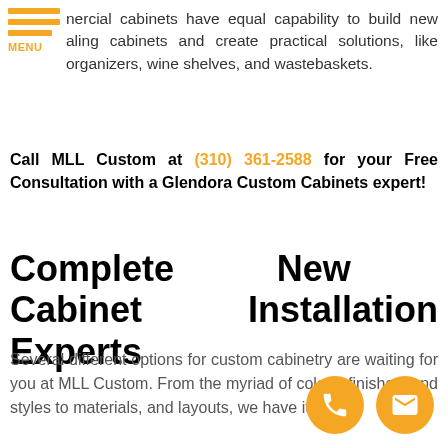[Figure (logo): Orange hamburger menu icon with three horizontal bars and MENU text below]
nercial cabinets have equal capability to build new aling cabinets and create practical solutions, like organizers, wine shelves, and wastebaskets.
Call MLL Custom at (310) 361-2588 for your Free Consultation with a Glendora Custom Cabinets expert!
Complete New Cabinet Installation Experts
Several different options for custom cabinetry are waiting for you at MLL Custom. From the myriad of colors, finishes, and styles to materials, and layouts, we have it all!
[Figure (illustration): Orange circle with white phone handset icon]
[Figure (illustration): Orange circle with white envelope/email icon]